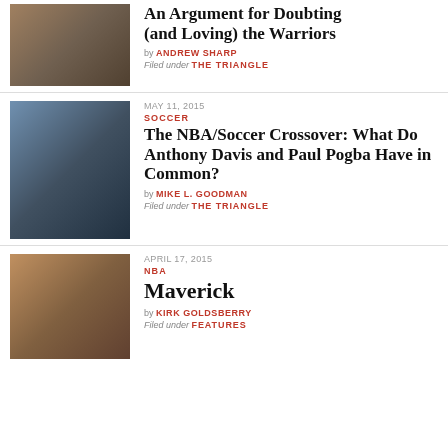[Figure (photo): Basketball game photo - Warriors]
An Argument for Doubting (and Loving) the Warriors
by ANDREW SHARP
Filed under THE TRIANGLE
MAY 11, 2015
SOCCER
[Figure (photo): Two athletes - Anthony Davis and Paul Pogba]
The NBA/Soccer Crossover: What Do Anthony Davis and Paul Pogba Have in Common?
by MIKE L. GOODMAN
Filed under THE TRIANGLE
APRIL 17, 2015
NBA
[Figure (photo): Basketball player on court - Maverick related]
Maverick
by KIRK GOLDSBERRY
Filed under FEATURES